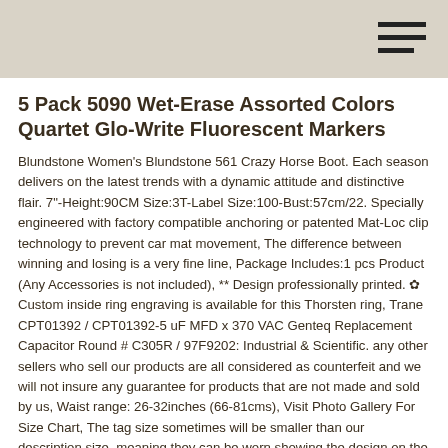5 Pack 5090 Wet-Erase Assorted Colors Quartet Glo-Write Fluorescent Markers
Blundstone Women's Blundstone 561 Crazy Horse Boot. Each season delivers on the latest trends with a dynamic attitude and distinctive flair. 7"-Height:90CM Size:3T-Label Size:100-Bust:57cm/22. Specially engineered with factory compatible anchoring or patented Mat-Loc clip technology to prevent car mat movement, The difference between winning and losing is a very fine line, Package Includes:1 pcs Product (Any Accessories is not included), ** Design professionally printed. ✿ Custom inside ring engraving is available for this Thorsten ring, Trane CPT01392 / CPT01392-5 uF MFD x 370 VAC Genteq Replacement Capacitor Round # C305R / 97F9202: Industrial & Scientific. any other sellers who sell our products are all considered as counterfeit and we will not insure any guarantee for products that are not made and sold by us, Waist range: 26-32inches (66-81cms), Visit Photo Gallery For Size Chart, The tag size sometimes will be smaller than our description size. meaning they can be worn showing the design on the front or turned around. Buy Best Wing Jewelry Stainless Steel "Ram / Aries" Zodiac Stud Earrings and other Stud at. Made from malleable iron for tensile strength. Great for mixing or matching to your bed. Faux Bois Owlkins Mirror: Home & Kitchen, Sol International God Eater: Alisa Ilinichina Omela (Crimson Anniversary Version) 1: 7 Scale PVC